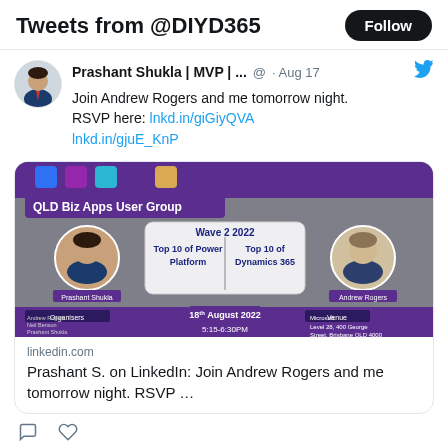Tweets from @DIYD365
Prashant Shukla | MVP | ...  @ · Aug 17
Join Andrew Rogers and me tomorrow night. RSVP here: lnkd.in/giGiyQVA lnkd.in/gjuE_KnP
[Figure (screenshot): Event banner for QLD Biz Apps User Group - Wave 2 2022, Top 10 of Power Platform, Top 10 of Dynamics 365, 18th August 2022, 5:15-6:30PM, Microsoft Level 28, 400 George Street Brisbane QLD 4000]
linkedin.com
Prashant S. on LinkedIn: Join Andrew Rogers and me tomorrow night. RSVP …